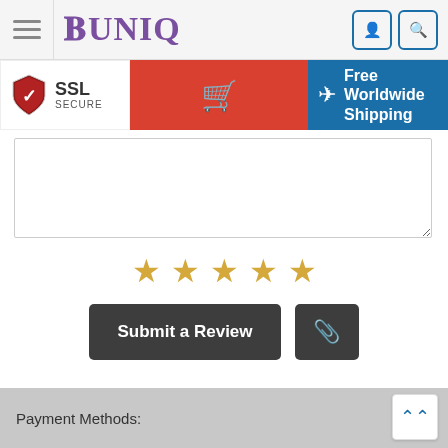[Figure (screenshot): Website header with hamburger menu, BUNIQ logo in purple, user account and search icon buttons in blue outlined squares]
[Figure (infographic): Toolbar with SSL Secure badge, red cart button with shopping cart icon, and blue Free Worldwide Shipping banner with airplane icon]
[Figure (screenshot): Review textarea input field, 5 gold stars rating row, Submit a Review dark button and paperclip attachment button]
Payment Methods: